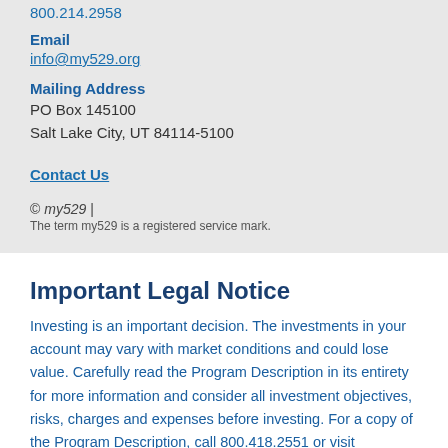800.214.2958
Email
info@my529.org
Mailing Address
PO Box 145100
Salt Lake City, UT 84114-5100
Contact Us
© my529 |
The term my529 is a registered service mark.
Important Legal Notice
Investing is an important decision. The investments in your account may vary with market conditions and could lose value. Carefully read the Program Description in its entirety for more information and consider all investment objectives, risks, charges and expenses before investing. For a copy of the Program Description, call 800.418.2551 or visit my529.org